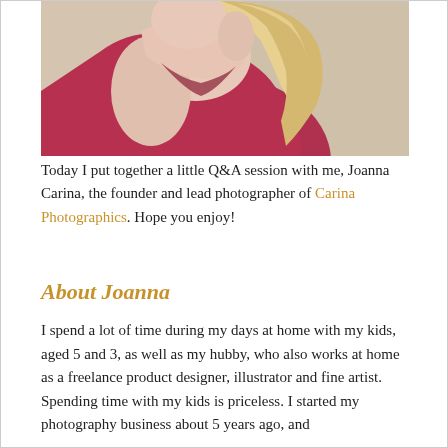[Figure (photo): Close-up portrait photo of a woman with blonde hair wearing a red/crimson top, photographed from shoulders up against a neutral background]
Today I put together a little Q&A session with me, Joanna Carina, the founder and lead photographer of Carina Photographics. Hope you enjoy!
About Joanna
I spend a lot of time during my days at home with my kids, aged 5 and 3, as well as my hubby, who also works at home as a freelance product designer, illustrator and fine artist. Spending time with my kids is priceless. I started my photography business about 5 years ago, and